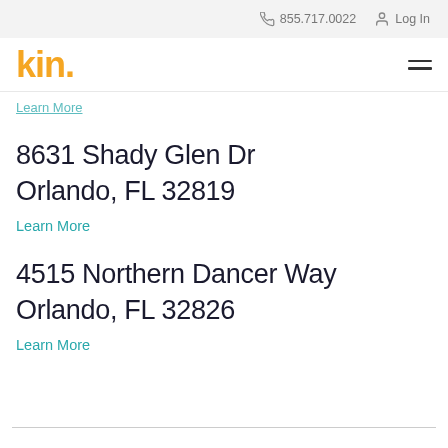855.717.0022   Log In
[Figure (logo): Kin Insurance logo — 'kin.' in bold orange/yellow font with a hamburger menu icon on the right]
Learn More
8631 Shady Glen Dr Orlando, FL 32819
Learn More
4515 Northern Dancer Way Orlando, FL 32826
Learn More